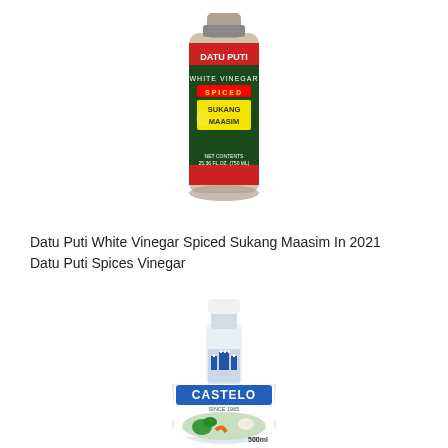[Figure (photo): Datu Puti White Vinegar Spiced Sukang Maasim bottle with dark green and red label]
Datu Puti White Vinegar Spiced Sukang Maasim In 2021 Datu Puti Spices Vinegar
[Figure (photo): Castelo white vinegar bottle with blue castle logo and vegetables image, 500ml]